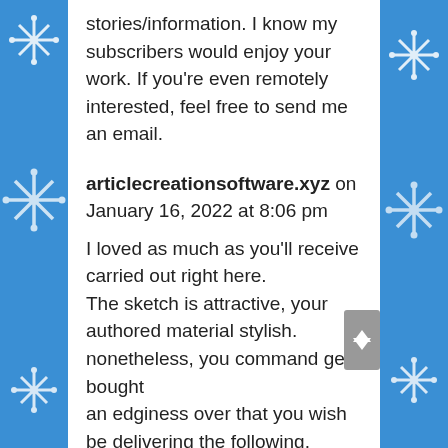stories/information. I know my subscribers would enjoy your work. If you're even remotely interested, feel free to send me an email.
articlecreationsoftware.xyz on January 16, 2022 at 8:06 pm
I loved as much as you'll receive carried out right here. The sketch is attractive, your authored material stylish. nonetheless, you command get bought an edginess over that you wish be delivering the following. unwell unquestionably come more